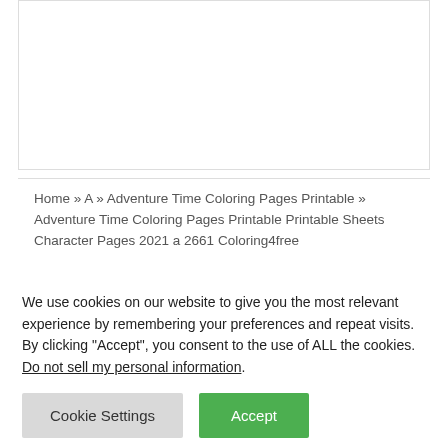[Figure (other): White rectangular image placeholder area at the top of the page]
Home » A » Adventure Time Coloring Pages Printable » Adventure Time Coloring Pages Printable Printable Sheets Character Pages 2021 a 2661 Coloring4free
Adventure Time Coloring Pages Printable Printable
We use cookies on our website to give you the most relevant experience by remembering your preferences and repeat visits. By clicking “Accept”, you consent to the use of ALL the cookies. Do not sell my personal information.
Cookie Settings    Accept